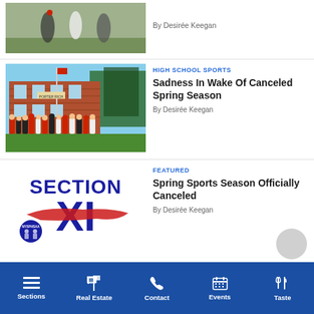[Figure (photo): Partial photo at top showing people on grass, cropped]
By Desirée Keegan
[Figure (photo): Youth baseball team posing in front of a brick school building with flagpole]
High School Sports
Sadness In Wake Of Canceled Spring Season
By Desirée Keegan
[Figure (logo): Section XI NYSPHSAA logo with red, white, and blue colors]
Featured
Spring Sports Season Officially Canceled
By Desirée Keegan
Sections | Real Estate | Contact | Events | Taste